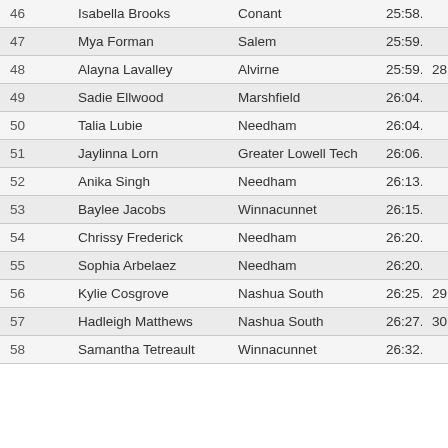|  | Name | School | Time |  |
| --- | --- | --- | --- | --- |
| 46 | Isabella Brooks | Conant | 25:58.8 |  |
| 47 | Mya Forman | Salem | 25:59.5 |  |
| 48 | Alayna Lavalley | Alvirne | 25:59.6 | 28 |
| 49 | Sadie Ellwood | Marshfield | 26:04.2 |  |
| 50 | Talia Lubie | Needham | 26:04.3 |  |
| 51 | Jaylinna Lorn | Greater Lowell Tech | 26:06.0 |  |
| 52 | Anika Singh | Needham | 26:13.0 |  |
| 53 | Baylee Jacobs | Winnacunnet | 26:15.1 |  |
| 54 | Chrissy Frederick | Needham | 26:20.5 |  |
| 55 | Sophia Arbelaez | Needham | 26:20.8 |  |
| 56 | Kylie Cosgrove | Nashua South | 26:25.6 | 29 |
| 57 | Hadleigh Matthews | Nashua South | 26:27.3 | 30 |
| 58 | Samantha Tetreault | Winnacunnet | 26:32.0 |  |